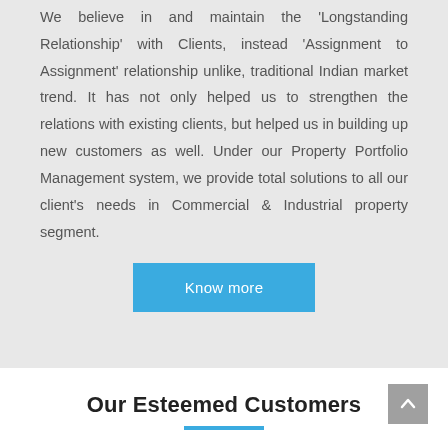We believe in and maintain the 'Longstanding Relationship' with Clients, instead 'Assignment to Assignment' relationship unlike, traditional Indian market trend. It has not only helped us to strengthen the relations with existing clients, but helped us in building up new customers as well. Under our Property Portfolio Management system, we provide total solutions to all our client's needs in Commercial & Industrial property segment.
Know more
Our Esteemed Customers